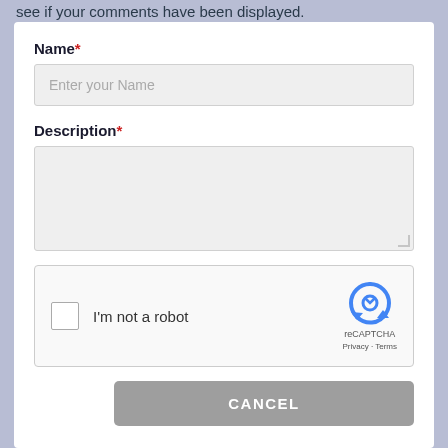see if your comments have been displayed.
Name*
Enter your Name
Description*
[Figure (other): reCAPTCHA widget with checkbox labeled 'I'm not a robot', reCAPTCHA logo, and Privacy - Terms links]
CANCEL